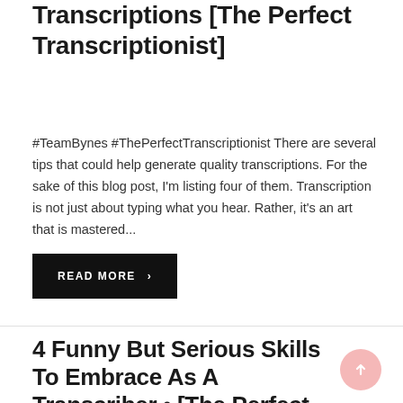Transcriptions [The Perfect Transcriptionist]
#TeamBynes #ThePerfectTranscriptionist There are several tips that could help generate quality transcriptions. For the sake of this blog post, I'm listing four of them. Transcription is not just about typing what you hear. Rather, it's an art that is mastered...
READ MORE >
4 Funny But Serious Skills To Embrace As A Transcriber • [The Perfect Transcriptionist]